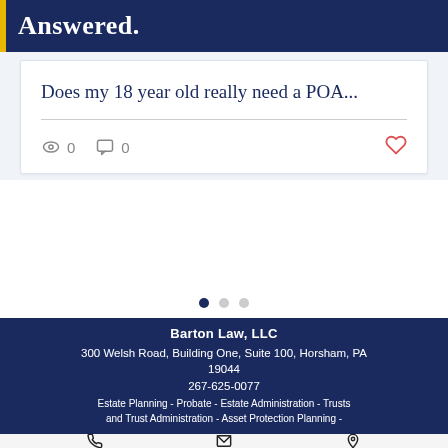Answered.
Does my 18 year old really need a POA...
0  0
[Figure (infographic): Carousel navigation dots: one filled dark navy dot and two grey dots]
Barton Law, LLC
300 Welsh Road, Building One, Suite 100, Horsham, PA 19044
267-625-0077
Estate Planning  - Probate  - Estate Administration  - Trusts and Trust Administration - Asset Protection Planning  -
[Figure (infographic): Bottom navigation bar with phone icon, email/envelope icon, and location pin icon]